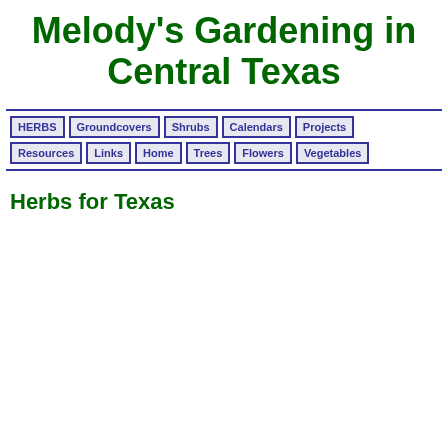Melody's Gardening in Central Texas
Herbs for Texas